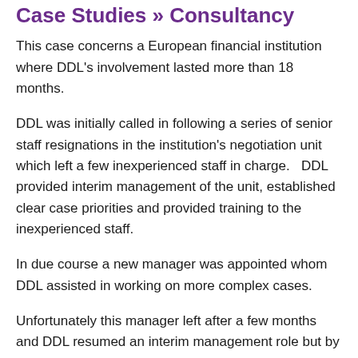Case Studies » Consultancy
This case concerns a European financial institution where DDL's involvement lasted more than 18 months.
DDL was initially called in following a series of senior staff resignations in the institution's negotiation unit which left a few inexperienced staff in charge.   DDL provided interim management of the unit, established clear case priorities and provided training to the inexperienced staff.
In due course a new manager was appointed whom DDL assisted in working on more complex cases.
Unfortunately this manager left after a few months and DDL resumed an interim management role but by that time more senior negotiators had been appointed and so our role was more advisory in nature.